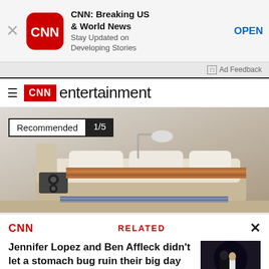[Figure (screenshot): CNN app advertisement banner with CNN logo icon, title 'CNN: Breaking US & World News', subtitle 'Stay Updated on Developing Stories', and OPEN button]
Ad Feedback
CNN entertainment
[Figure (photo): Recommended 1/5 - furniture/bed product image with speakers and tech accessories]
CNN RELATED
Jennifer Lopez and Ben Affleck didn't let a stomach bug ruin their big day